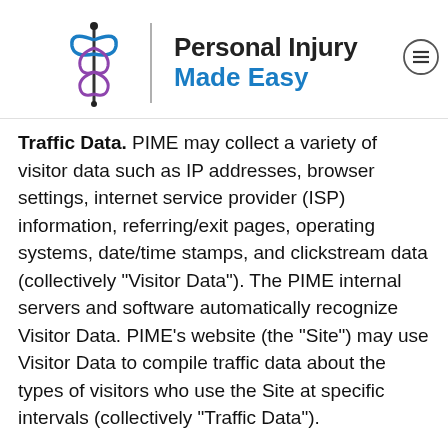[Figure (logo): Personal Injury Made Easy logo with caduceus-style symbol and text]
Traffic Data. PIME may collect a variety of visitor data such as IP addresses, browser settings, internet service provider (ISP) information, referring/exit pages, operating systems, date/time stamps, and clickstream data (collectively “Visitor Data”). The PIME internal servers and software automatically recognize Visitor Data. PIME’s website (the “Site”) may use Visitor Data to compile traffic data about the types of visitors who use the Site at specific intervals (collectively “Traffic Data”).
We may use Traffic Data to analyze Site traffic, but